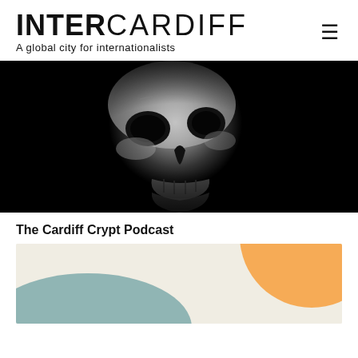INTERCARDIFF — A global city for internationalists
[Figure (photo): Black and white close-up photograph of a human skull, partially illuminated against a dark black background, showing detailed bone texture of the face and jaw area]
The Cardiff Crypt Podcast
[Figure (illustration): Colorful abstract illustration with a cream/beige background, featuring a teal/blue organic blob shape at the bottom left and a large orange circular shape at the top right]